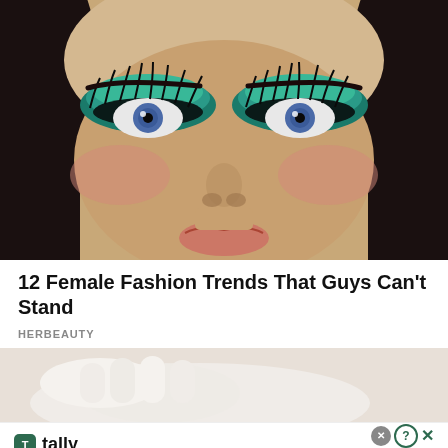[Figure (photo): Close-up portrait of a woman with dramatic teal/green eye makeup, bold false lashes, blue eyes, and dark hair against white background. Face fills the frame showing eyes, nose, and slightly parted lips.]
12 Female Fashion Trends That Guys Can't Stand
HERBEAUTY
[Figure (photo): Partial image of gloved hands in white latex gloves against a dark background — partially visible, cropped at bottom.]
[Figure (other): Advertisement banner for Tally app: 'Fast credit card payoff' with green Tally logo icon, and a 'Download Now' button with arrow on dark green rounded background. Close/question mark icons in top right.]